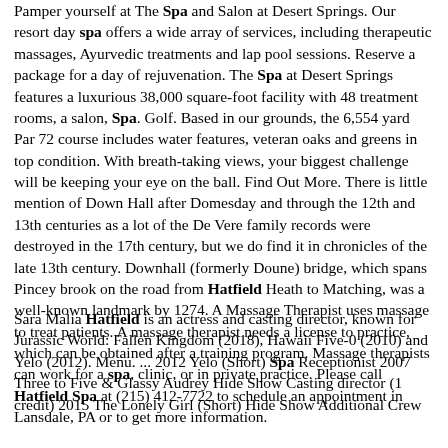Pamper yourself at The Spa and Salon at Desert Springs. Our resort day spa offers a wide array of services, including therapeutic massages, Ayurvedic treatments and lap pool sessions. Reserve a package for a day of rejuvenation. The Spa at Desert Springs features a luxurious 38,000 square-foot facility with 48 treatment rooms, a salon, Spa. Golf. Based in our grounds, the 6,554 yard Par 72 course includes water features, veteran oaks and greens in top condition. With breath-taking views, your biggest challenge will be keeping your eye on the ball. Find Out More. There is little mention of Down Hall after Domesday and through the 12th and 13th centuries as a lot of the De Vere family records were destroyed in the 17th century, but we do find it in chronicles of the late 13th century. Downhall (formerly Doune) bridge, which spans Pincey brook on the road from Hatfield Heath to Matching, was a well-known landmark by 1274. A Massage Therapist uses massage to treat patients. A massage therapist needs a license to practice, which can be obtained after a training program. Massage therapists can work for a spa, clinic, or in private practice. Please call Hatfield Spa at (215) 412-7722 to schedule an appointment in Lansdale, PA or to get more information.
Sara Malia Hatfield is an actress and casting director, known for Jurassic World: Fallen Kingdom (2018), Hawaii Five-0 (2010) and Yelo (2012). Menu. ... 2012 Yelo (Short) Spa Receptionist 2007 Three to Five & Glassy Audrey Hide Show Casting director (1 credit) 2015 The Lonely Girl (Short) Hide Show Additional Crew